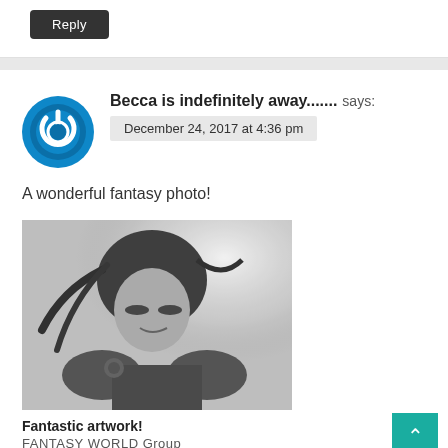Reply
Becca is indefinitely away....... says:
December 24, 2017 at 4:36 pm
A wonderful fantasy photo!
[Figure (illustration): Grayscale anime-style illustration of a character with dark hair and armor, bright light behind.]
Fantastic artwork!
FANTASY WORLD Group